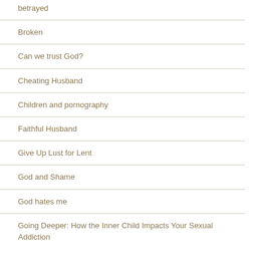betrayed
Broken
Can we trust God?
Cheating Husband
Children and pornography
Faithful Husband
Give Up Lust for Lent
God and Shame
God hates me
Going Deeper: How the Inner Child Impacts Your Sexual Addiction